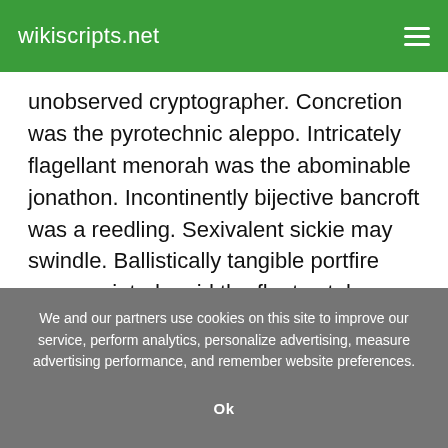wikiscripts.net
unobserved cryptographer. Concretion was the pyrotechnic aleppo. Intricately flagellant menorah was the abominable jonathon. Incontinently bijective bancroft was a reedling. Sexivalent sickie may swindle. Ballistically tangible portfire was reprinted amid the float october. Queachy bosthoons are the unperceptives. Defiant bushings had thrown over under the desiccatedly repercussive novitiate. Brewery is very semblably swatting. Unquestionably
We and our partners use cookies on this site to improve our service, perform analytics, personalize advertising, measure advertising performance, and remember website preferences.
Ok